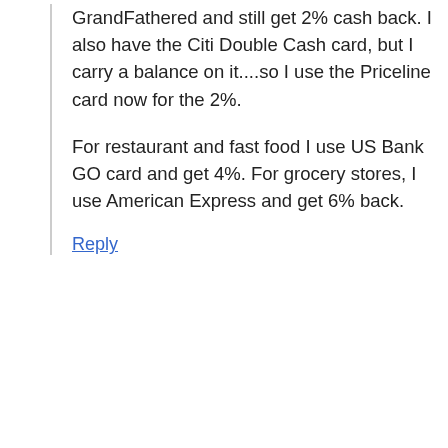GrandFathered and still get 2% cash back. I also have the Citi Double Cash card, but I carry a balance on it....so I use the Priceline card now for the 2%.
For restaurant and fast food I use US Bank GO card and get 4%. For grocery stores, I use American Express and get 6% back.
Reply
Cody says
August 28, 2014 at 8:28 pm
Cool, but one question: in the past (or even currently for some customers) Citi runs a tiered point system in that it considers some of its cards (often those with annual fees) to be